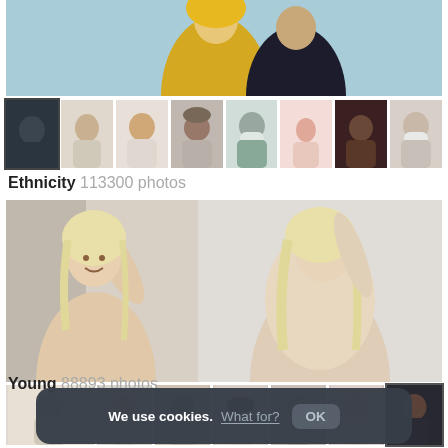[Figure (photo): Hero image showing two people — one in yellow hoodie and one in dark jacket — against a blue background, cropped at top]
[Figure (photo): Row of 8 thumbnail photos showing various people of different ethnicities]
Ethnicity 113300 photos
[Figure (photo): Large featured image showing two blonde women with arms raised, torsos visible, against grey/white backgrounds]
[Figure (photo): Row of 7 thumbnail photos related to Young category]
Young 88893 photos
We use cookies. What for? OK